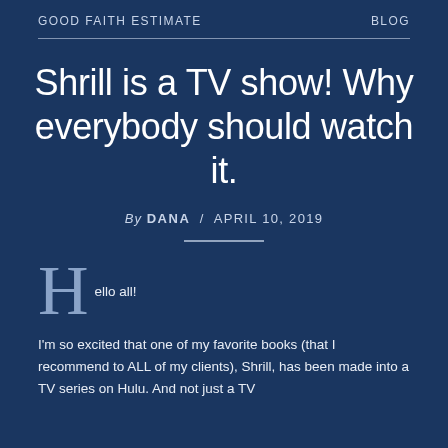GOOD FAITH ESTIMATE    BLOG
Shrill is a TV show! Why everybody should watch it.
By DANA / APRIL 10, 2019
Hello all! I'm so excited that one of my favorite books (that I recommend to ALL of my clients), Shrill, has been made into a TV series on Hulu. And not just a TV